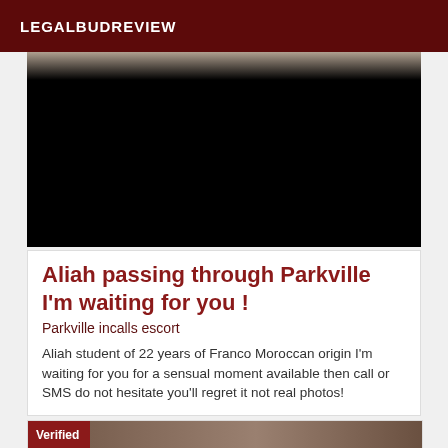LEGALBUDREVIEW
[Figure (photo): A partially visible photo showing the top of a person's head, mostly obscured by a large black area below.]
Aliah passing through Parkville I'm waiting for you !
Parkville incalls escort
Aliah student of 22 years of Franco Moroccan origin I'm waiting for you for a sensual moment available then call or SMS do not hesitate you'll regret it not real photos!
[Figure (photo): Bottom card with a 'Verified' badge in dark red and a partial photo to the right.]